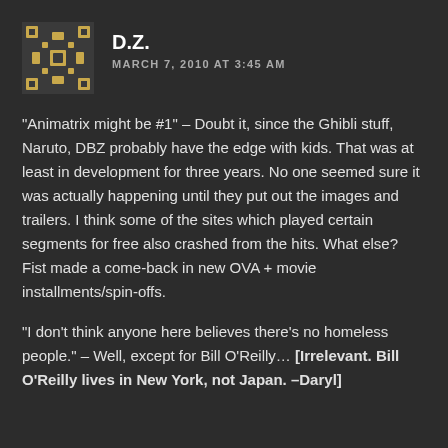[Figure (illustration): Square avatar icon with geometric gold/tan pattern on dark background]
D.Z.
MARCH 7, 2010 AT 3:45 AM
"Animatrix might be #1" – Doubt it, since the Ghibli stuff, Naruto, DBZ probably have the edge with kids. That was at least in development for three years. No one seemed sure it was actually happening until they put out the images and trailers. I think some of the sites which played certain segments for free also crashed from the hits. What else? Fist made a come-back in new OVA + movie installments/spin-offs.
"I don't think anyone here believes there's no homeless people." – Well, except for Bill O'Reilly… [Irrelevant. Bill O'Reilly lives in New York, not Japan. –Daryl]